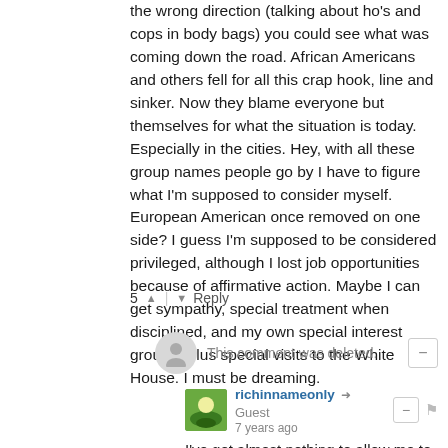the wrong direction (talking about ho's and cops in body bags) you could see what was coming down the road. African Americans and others fell for all this crap hook, line and sinker. Now they blame everyone but themselves for what the situation is today. Especially in the cities. Hey, with all these group names people go by I have to figure what I'm supposed to consider myself. European American once removed on one side? I guess I'm supposed to be considered privileged, although I lost job opportunities because of affirmative action. Maybe I can get sympathy, special treatment when disciplined, and my own special interest groups. Plus special visits to the White House. I must be dreaming.
5 ▲ | ▼ Reply
This comment was deleted.
richinnameonly → Guest
7 years ago
I've got almost nothing to allow me to claim anything special, like a "victim" status. My Dad was